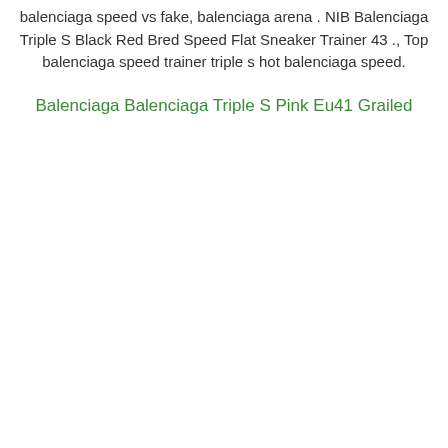balenciaga speed vs fake, balenciaga arena . NIB Balenciaga Triple S Black Red Bred Speed Flat Sneaker Trainer 43 ., Top balenciaga speed trainer triple s hot balenciaga speed.
Balenciaga Balenciaga Triple S Pink Eu41 Grailed